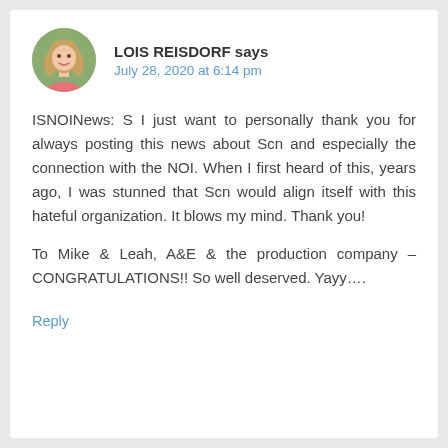[Figure (photo): Circular avatar photo of a woman with blonde hair wearing a pink top, outdoors with greenery in background]
LOIS REISDORF says
July 28, 2020 at 6:14 pm
ISNOINews: S I just want to personally thank you for always posting this news about Scn and especially the connection with the NOI. When I first heard of this, years ago, I was stunned that Scn would align itself with this hateful organization. It blows my mind. Thank you!
To Mike & Leah, A&E & the production company – CONGRATULATIONS!! So well deserved. Yayy….
Reply